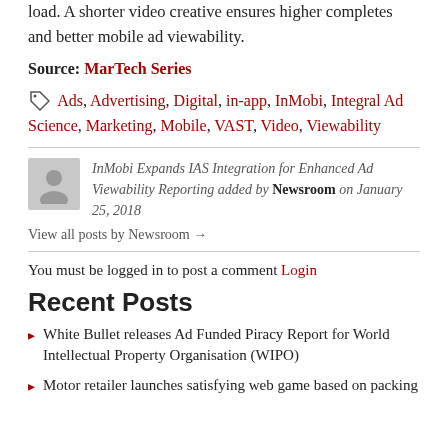load. A shorter video creative ensures higher completes and better mobile ad viewability.
Source: MarTech Series
Ads, Advertising, Digital, in-app, InMobi, Integral Ad Science, Marketing, Mobile, VAST, Video, Viewability
InMobi Expands IAS Integration for Enhanced Ad Viewability Reporting added by Newsroom on January 25, 2018
View all posts by Newsroom →
You must be logged in to post a comment Login
Recent Posts
White Bullet releases Ad Funded Piracy Report for World Intellectual Property Organisation (WIPO)
Motor retailer launches satisfying web game based on packing